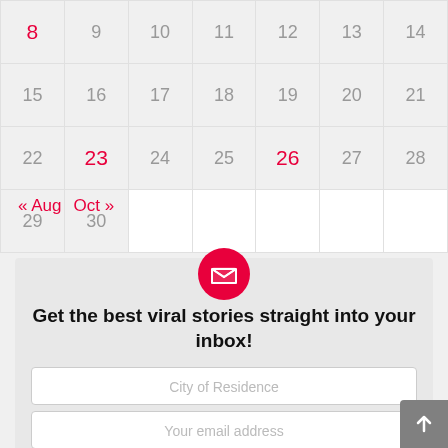| 8 | 9 | 10 | 11 | 12 | 13 | 14 |
| 15 | 16 | 17 | 18 | 19 | 20 | 21 |
| 22 | 23 | 24 | 25 | 26 | 27 | 28 |
| 29 | 30 |  |  |  |  |  |
« Aug   Oct »
[Figure (other): Red circular email icon button]
Get the best viral stories straight into your inbox!
City of Residence
Your email address